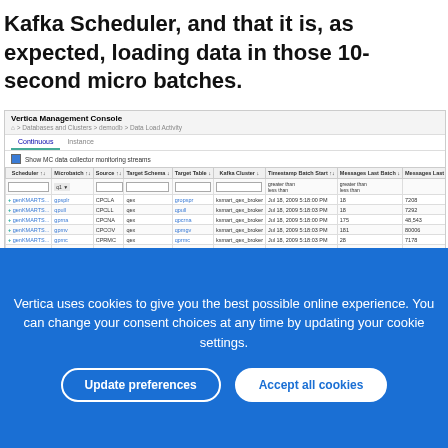Kafka Scheduler, and that it is, as expected, loading data in those 10-second micro batches.
[Figure (screenshot): Vertica Management Console screenshot showing Data Load Activity page with Continuous tab selected. Table shows Scheduler, Microbatch, Source, Target Schema, Target Table, Kafka Cluster, Timestamp Batch Start, Messages Last Batch, Messages Last Hour columns with several rows of data entries.]
Vertica uses cookies to give you the best possible online experience. You can change your consent choices at any time by updating your cookie settings.